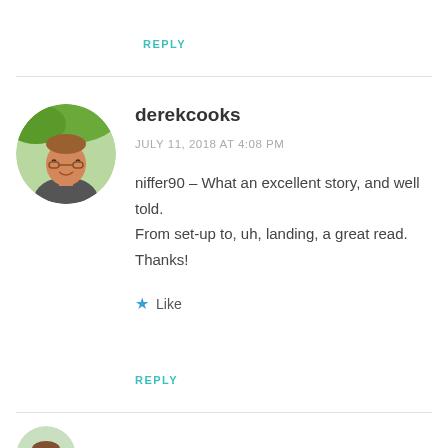REPLY
derekcooks
JULY 11, 2018 AT 4:08 PM
niffer90 – What an excellent story, and well told. From set-up to, uh, landing, a great read. Thanks!
Like
REPLY